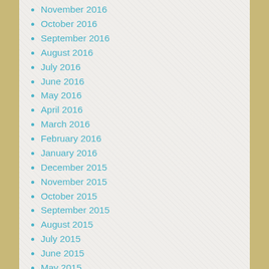November 2016
October 2016
September 2016
August 2016
July 2016
June 2016
May 2016
April 2016
March 2016
February 2016
January 2016
December 2015
November 2015
October 2015
September 2015
August 2015
July 2015
June 2015
May 2015
April 2015